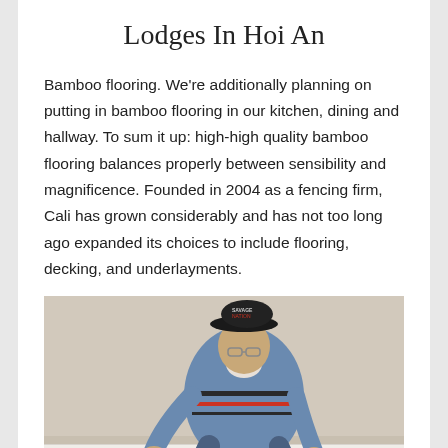Lodges In Hoi An
Bamboo flooring. We're additionally planning on putting in bamboo flooring in our kitchen, dining and hallway. To sum it up: high-high quality bamboo flooring balances properly between sensibility and magnificence. Founded in 2004 as a fencing firm, Cali has grown considerably and has not too long ago expanded its choices to include flooring, decking, and underlayments.
[Figure (photo): A man wearing a black cap labeled 'Savage Nation' and a blue striped sweater, crouching down and examining or installing flooring near a white baseboard in a room with beige walls.]